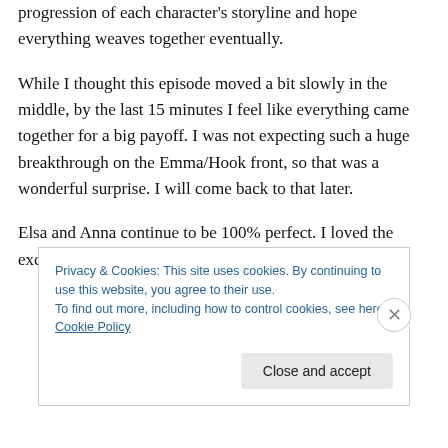progression of each character's storyline and hope everything weaves together eventually.
While I thought this episode moved a bit slowly in the middle, by the last 15 minutes I feel like everything came together for a big payoff. I was not expecting such a huge breakthrough on the Emma/Hook front, so that was a wonderful surprise. I will come back to that later.
Elsa and Anna continue to be 100% perfect. I loved the exchange between Anna and David
Privacy & Cookies: This site uses cookies. By continuing to use this website, you agree to their use.
To find out more, including how to control cookies, see here: Cookie Policy